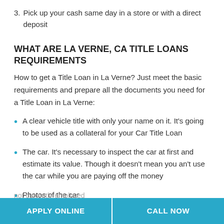3. Pick up your cash same day in a store or with a direct deposit
WHAT ARE LA VERNE, CA TITLE LOANS REQUIREMENTS
How to get a Title Loan in La Verne? Just meet the basic requirements and prepare all the documents you need for a Title Loan in La Verne:
A clear vehicle title with only your name on it. It's going to be used as a collateral for your Car Title Loan
The car. It's necessary to inspect the car at first and estimate its value. Though it doesn't mean you an't use the car while you are paying off the money
Photos of the car
A proof of income as well as employment. Though you
not currently employed